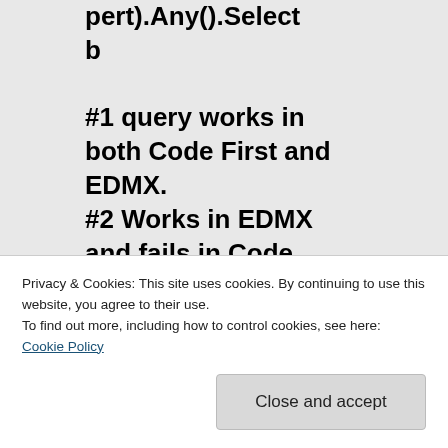pert).Any().Select b

#1 query works in both Code First and EDMX.
#2 Works in EDMX and fails in Code First with “not supported” because it can’t reflect out the
Privacy & Cookies: This site uses cookies. By continuing to use this website, you agree to their use.
To find out more, including how to control cookies, see here: Cookie Policy
Close and accept